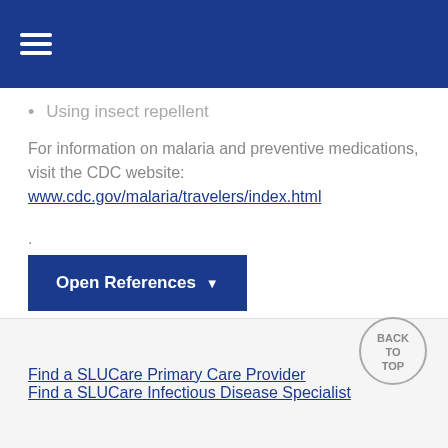≡ (hamburger menu)
Using insect repellent
For information on malaria and preventive medications, visit the CDC website: www.cdc.gov/malaria/travelers/index.html.
[Figure (other): Open References button with dropdown arrow]
TEXT ONLY
Find a SLUCare Primary Care Provider
Find a SLUCare Infectious Disease Specialist
[Figure (other): Back to Top circular button]